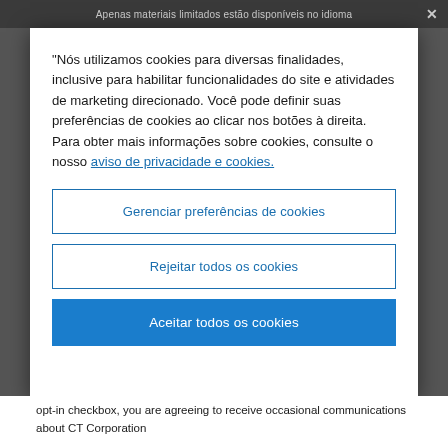Apenas materiais limitados estão disponíveis no idioma
"Nós utilizamos cookies para diversas finalidades, inclusive para habilitar funcionalidades do site e atividades de marketing direcionado. Você pode definir suas preferências de cookies ao clicar nos botões à direita. Para obter mais informações sobre cookies, consulte o nosso aviso de privacidade e cookies.
Gerenciar preferências de cookies
Rejeitar todos os cookies
Aceitar todos os cookies
opt-in checkbox, you are agreeing to receive occasional communications about CT Corporation